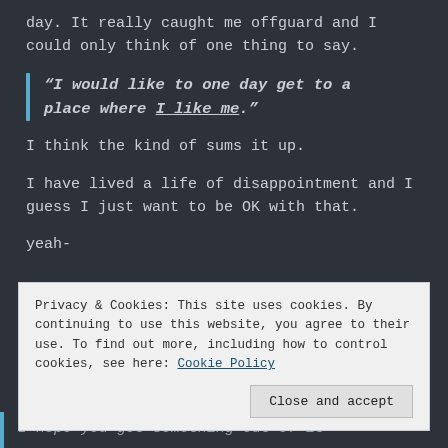day. It really caught me offguard and I could only think of one thing to say.
“I would like to one day get to a place where I like me.”
I think the kind of sums it up.
I have lived a life of disappointment and I guess I just want to be OK with that.
yeah-
Privacy & Cookies: This site uses cookies. By continuing to use this website, you agree to their use. To find out more, including how to control cookies, see here: Cookie Policy
Close and accept
I hope you got something out of it